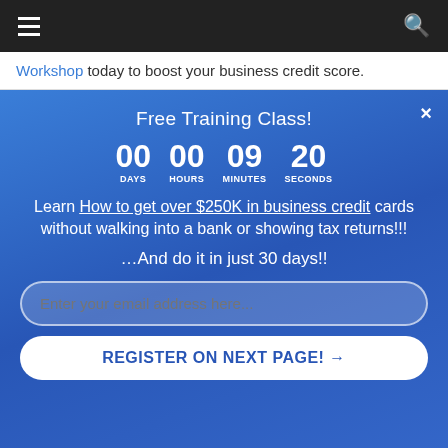Navigation bar with hamburger menu and search icon
Workshop today to boost your business credit score.
Free Training Class!
00 DAYS  00 HOURS  09 MINUTES  20 SECONDS
Learn How to get over $250K in business credit cards without walking into a bank or showing tax returns!!!
…And do it in just 30 days!!
Enter your email address here...
REGISTER ON NEXT PAGE! →